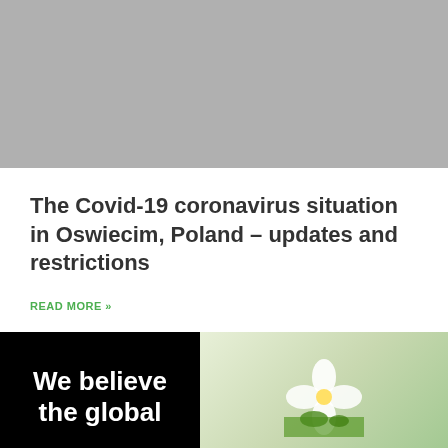[Figure (photo): Gray hero image placeholder at the top of the page]
The Covid-19 coronavirus situation in Oswiecim, Poland – updates and restrictions
READ MORE »
[Figure (infographic): Advertisement banner with black left half showing 'We believe the global' text and right half with green/floral imagery, plus a bottom bar showing McA logo, Dine-in, Curbside pickup, and a blue navigation diamond icon]